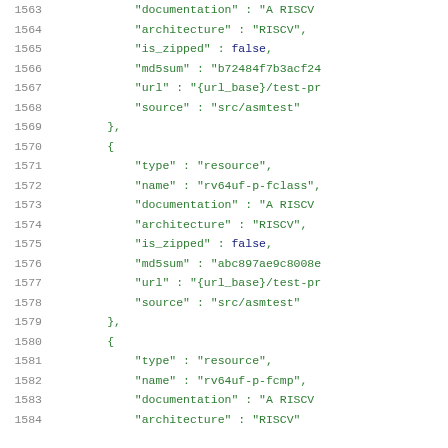Code listing lines 1563-1584, JSON resource entries for RISC-V architecture definitions